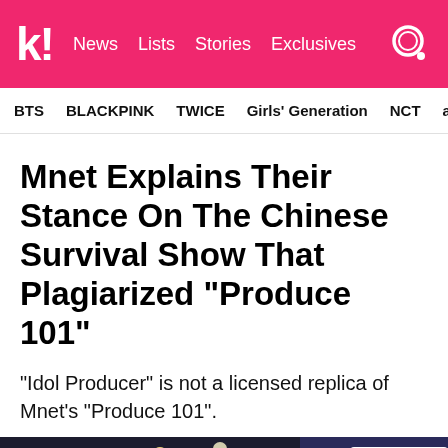k! News Lists Stories Exclusives
BTS  BLACKPINK  TWICE  Girls' Generation  NCT  aespa
Mnet Explains Their Stance On The Chinese Survival Show That Plagiarized “Produce 101”
“Idol Producer” is not a licensed replica of Mnet’s “Produce 101”.
[Figure (photo): Performance stage with performers and colorful geometric backdrop with Chinese text signage]